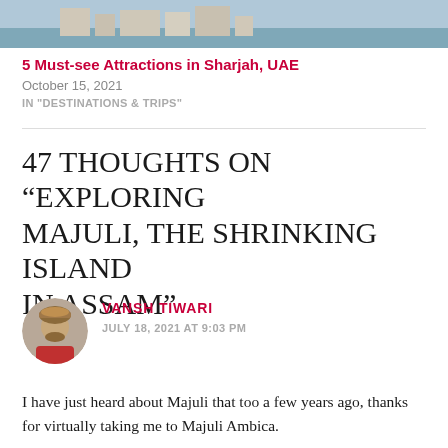[Figure (photo): Top portion of a travel photo showing a waterfront with buildings, cut off at top of page]
5 Must-see Attractions in Sharjah, UAE
October 15, 2021
IN "DESTINATIONS & TRIPS"
47 thoughts on “Exploring Majuli, The Shrinking Island in Assam”
[Figure (photo): Circular avatar photo of Vansh Tiwari, a man with a colorful head wrap and red jacket]
Vansh Tiwari
JULY 18, 2021 AT 9:03 PM
I have just heard about Majuli that too a few years ago, thanks for virtually taking me to Majuli Ambica.